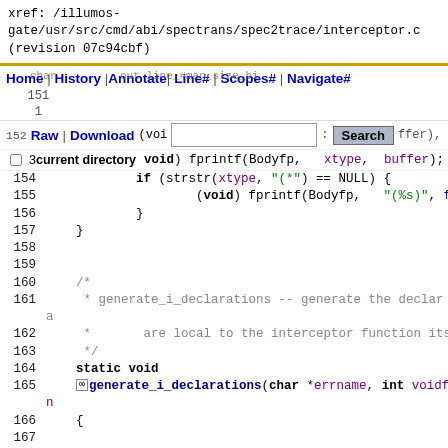xref: /illumos-gate/usr/src/cmd/abi/spectrans/spec2trace/interceptor.c (revision 07c94cbf)
Home | History | Annotate | Line# | Scopes# | Navigate#
Raw | Download [search box] Search
current directory
code lines 151-175 of interceptor.c